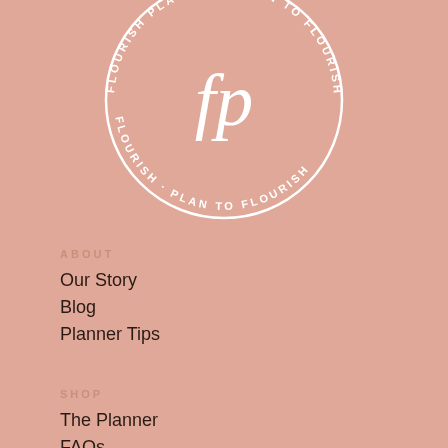[Figure (logo): Circular logo for Flourish Planner / Plan to Flourish brand. White circle outline with text around the ring reading 'FLOURISH PLANNER · FLOURISH · PLAN TO FLOURISH' and a stylized 'fp' monogram in white script at center, on a dusty rose/pink background.]
ABOUT
Our Story
Blog
Planner Tips
SHOP
The Planner
FAQs
Testimonials